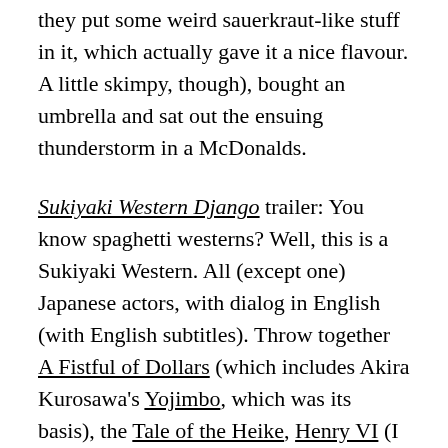they put some weird sauerkraut-like stuff in it, which actually gave it a nice flavour. A little skimpy, though), bought an umbrella and sat out the ensuing thunderstorm in a McDonalds.
Sukiyaki Western Django trailer: You know spaghetti westerns? Well, this is a Sukiyaki Western. All (except one) Japanese actors, with dialog in English (with English subtitles). Throw together A Fistful of Dollars (which includes Akira Kurosawa's Yojimbo, which was its basis), the Tale of the Heike, Henry VI (I couldn't tell you which part), and Quentin Tarantino, and you get Sukiyaki Western Django.
Yes, it's that awesome. It's not some crazy-ass farce, either. There are some comic relief characters, but it's mostly played pretty straight (as much as a Takashi Miike movie can be played straight). This is a concept that doesn't need hamming up. It comes